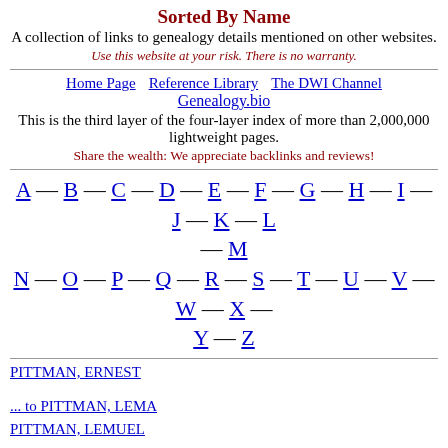Sorted By Name
A collection of links to genealogy details mentioned on other websites.
Use this website at your risk. There is no warranty.
Home Page   Reference Library   The DWI Channel   Genealogy.bio
This is the third layer of the four-layer index of more than 2,000,000 lightweight pages.
Share the wealth: We appreciate backlinks and reviews!
A — B — C — D — E — F — G — H — I — J — K — L — M
N — O — P — Q — R — S — T — U — V — W — X — Y — Z
PITTMAN, ERNEST ... to PITTMAN, LEMA
PITTMAN, LEMUEL ... to PITTMAN, SHARONNA